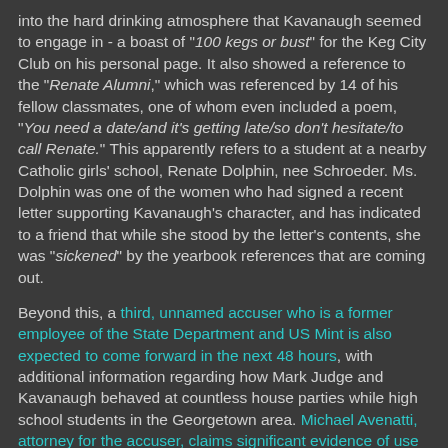into the hard drinking atmosphere that Kavanaugh seemed to engage in - a boast of "100 kegs or bust" for the Keg City Club on his personal page.  It also showed a reference to the "Renate Alumni," which was referenced by 14 of his fellow classmates, one of whom even included a poem, "You need a date/and it's getting late/so don't hesitate/to call Renate." This apparently refers to a student at a nearby Catholic girls' school, Renate Dolphin, nee Schroeder.  Ms. Dolphin was one of the women who had signed a recent letter supporting Kavanaugh's character, and has indicated to a friend that while she stood by the letter's contents, she was "sickened" by the yearbook references that are coming out.
Beyond this, a third, unnamed accuser who is a former employee of the State Department and US Mint is also expected to come forward in the next 48 hours, with additional information regarding how Mark Judge and Kavanaugh behaved at countless house parties while high school students in the Georgetown area.  Michael Avenatti, attorney for the accuser, claims significant evidence of use of drugs and alcohol for gang rape.